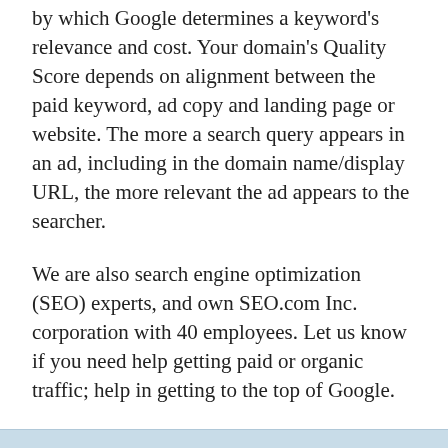by which Google determines a keyword's relevance and cost. Your domain's Quality Score depends on alignment between the paid keyword, ad copy and landing page or website. The more a search query appears in an ad, including in the domain name/display URL, the more relevant the ad appears to the searcher.
We are also search engine optimization (SEO) experts, and own SEO.com Inc. corporation with 40 employees. Let us know if you need help getting paid or organic traffic; help in getting to the top of Google.
Buy HanoiLive.com now!
Leave a message